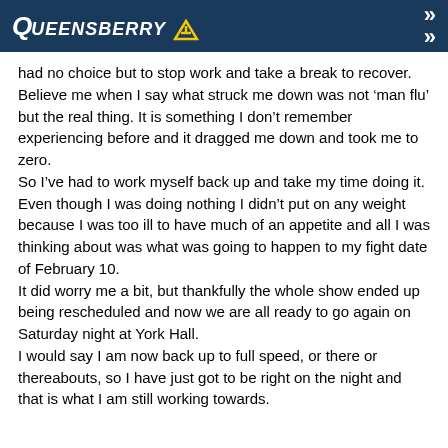Queensberry
had no choice but to stop work and take a break to recover.
Believe me when I say what struck me down was not ‘man flu’ but the real thing. It is something I don’t remember experiencing before and it dragged me down and took me to zero.
So I’ve had to work myself back up and take my time doing it.
Even though I was doing nothing I didn’t put on any weight because I was too ill to have much of an appetite and all I was thinking about was what was going to happen to my fight date of February 10.
It did worry me a bit, but thankfully the whole show ended up being rescheduled and now we are all ready to go again on Saturday night at York Hall.
I would say I am now back up to full speed, or there or thereabouts, so I have just got to be right on the night and that is what I am still working towards.